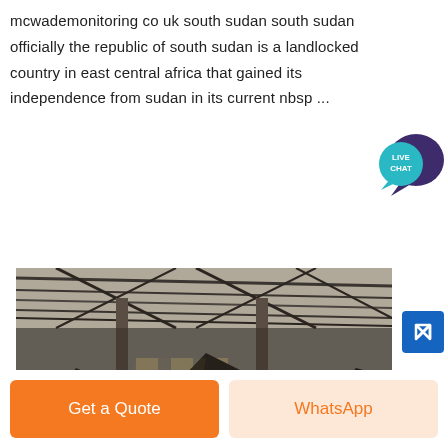mcwademonitoring co uk south sudan south sudan officially the republic of south sudan is a landlocked country in east central africa that gained its independence from sudan in its current nbsp ...
[Figure (photo): Interior of a large industrial warehouse with steel roof trusses, columns, and piles of bulk material on the floor. Light filters through windows at the far end.]
Get a Quote
WhatsApp